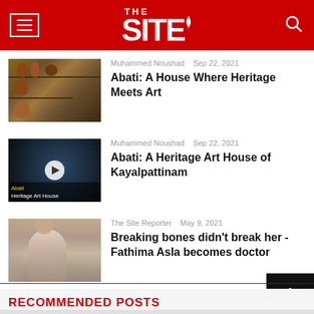THE SITE
Muhammed Noushad   Sep 22, 2021
Abati: A House Where Heritage Meets Art
Muhammed Noushad   Sep 22, 2021
Abati: A Heritage Art House of Kayalpattinam
The Site Reporter   May 9, 2021
Breaking bones didn't break her - Fathima Asla becomes doctor
RECOMMENDED POSTS